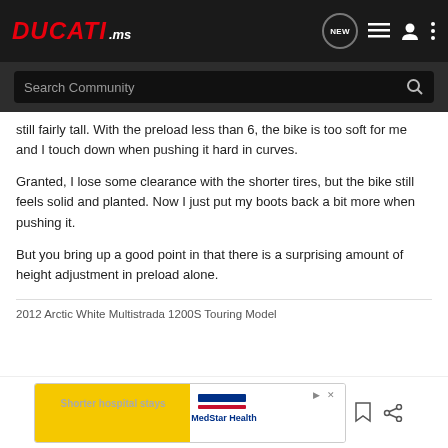DUCATI.ms — NEW — navigation icons — Search Community
still fairly tall. With the preload less than 6, the bike is too soft for me and I touch down when pushing it hard in curves.
Granted, I lose some clearance with the shorter tires, but the bike still feels solid and planted. Now I just put my boots back a bit more when pushing it.
But you bring up a good point in that there is a surprising amount of height adjustment in preload alone.
2012 Arctic White Multistrada 1200S Touring Model
[Figure (screenshot): MedStar Health advertisement banner with yellow background on left and MedStar Health logo on right, with 'Shorter hospital stays' text in yellow section]